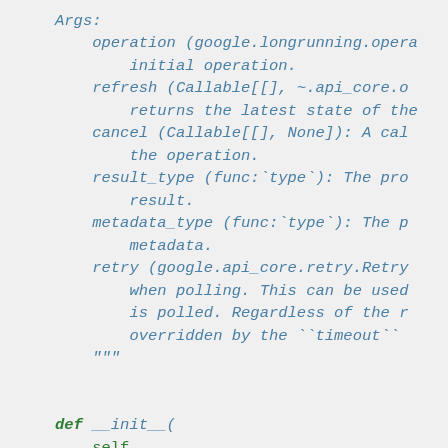Args:
    operation (google.longrunning.opera...
        initial operation.
    refresh (Callable[[], ~.api_core.o...
        returns the latest state of the...
    cancel (Callable[[], None]): A cal...
        the operation.
    result_type (func:`type`): The pro...
        result.
    metadata_type (func:`type`): The p...
        metadata.
    retry (google.api_core.retry.Retry...
        when polling. This can be used...
        is polled. Regardless of the r...
        overridden by the ``timeout`` ...
"""

def __init__(
    self,
    operation,
    refresh,
    cancel,